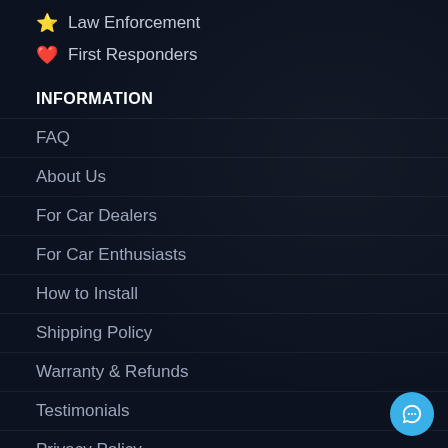⭐ Law Enforcement
❤️ First Responders
INFORMATION
FAQ
About Us
For Car Dealers
For Car Enthusiasts
How to Install
Shipping Policy
Warranty & Refunds
Testimonials
Privacy Policy
Copycats